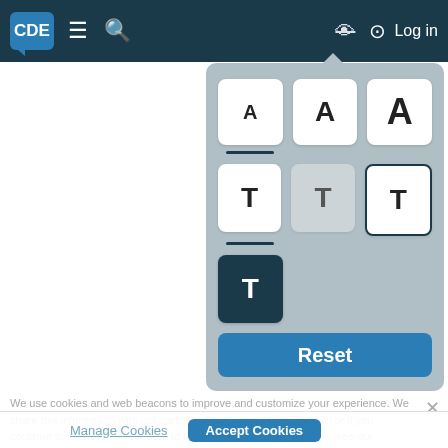CDE  ≡  🔍  🚫👁  Log in
[Figure (screenshot): Font size accessibility picker popup showing three font size 'A' buttons (small, medium, large), three 'T' style buttons (white, gray, outline), one dark 'T' button, and a blue Reset button]
We use cookies and web beacons to improve and customize your experience. We share this information with our partners. By clicking ACCEPT or X, or if you continue to browse, you consent to that use. For more information, see our Privacy Policy.
Graves' disease and thyroid eye disease
Autoimmune hyperthyroidism is known as Graves' disease. Graves' disease is also known as
Manage Cookies   Accept Cookies